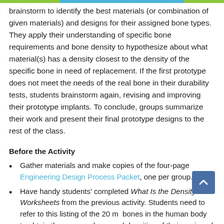brainstorm to identify the best materials (or combination of given materials) and designs for their assigned bone types. They apply their understanding of specific bone requirements and bone density to hypothesize about what material(s) has a density closest to the density of the specific bone in need of replacement. If the first prototype does not meet the needs of the real bone in their durability tests, students brainstorm again, revising and improving their prototype implants. To conclude, groups summarize their work and present their final prototype designs to the rest of the class.
Before the Activity
Gather materials and make copies of the four-page Engineering Design Process Packet, one per group.
Have handy students' completed What Is the Density? Worksheets from the previous activity. Students need to refer to this listing of the 20 major bones in the human body to obtain the mass, volume and densities of their assigned bones for the